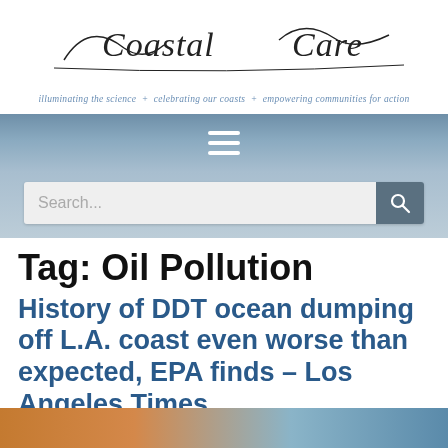[Figure (logo): Coastal Care logo with decorative wave script text and tagline]
illuminating the science + celebrating our coasts + empowering communities for action
[Figure (other): Navigation bar with hamburger menu icon]
[Figure (other): Search bar with search input and search button icon]
Tag: Oil Pollution
History of DDT ocean dumping off L.A. coast even worse than expected, EPA finds – Los Angeles Times
[Figure (photo): Partial image strip at bottom of page]